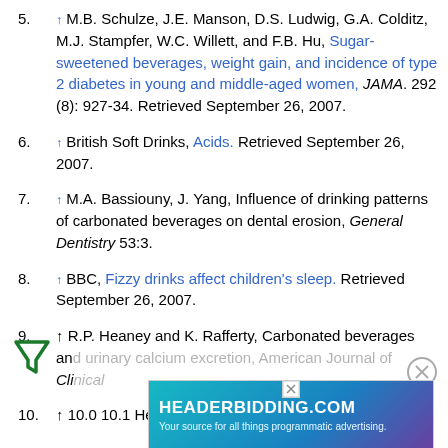5. ↑ M.B. Schulze, J.E. Manson, D.S. Ludwig, G.A. Colditz, M.J. Stampfer, W.C. Willett, and F.B. Hu, Sugar-sweetened beverages, weight gain, and incidence of type 2 diabetes in young and middle-aged women, JAMA. 292 (8): 927-34. Retrieved September 26, 2007.
6. ↑ British Soft Drinks, Acids. Retrieved September 26, 2007.
7. ↑ M.A. Bassiouny, J. Yang, Influence of drinking patterns of carbonated beverages on dental erosion, General Dentistry 53:3.
8. ↑ BBC, Fizzy drinks affect children's sleep. Retrieved September 26, 2007.
9. ↑ R.P. Heaney and K. Rafferty, Carbonated beverages and urinary calcium excretion, American Journal of Clinical Nutrition 74(3):343-347. Retrieved September 26, 2007.
10. ↑ 10.0 10.1 Healthy Generation, Alliance for a